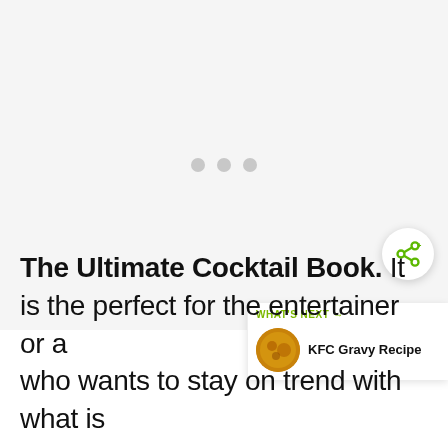[Figure (other): Loading placeholder area with three grey dots indicating content is loading]
The Ultimate Cocktail Book. It is the perfect for the entertainer or a who wants to stay on trend with what is